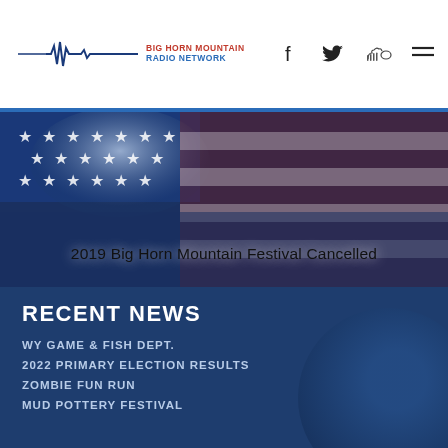BIG HORN MOUNTAIN RADIO NETWORK
[Figure (photo): American flag background image with stars and red/white/blue colors, with text overlay '2019 Big Horn Mountain Festival Cancelled']
2019 Big Horn Mountain Festival Cancelled
RECENT NEWS
WY GAME & FISH DEPT.
2022 PRIMARY ELECTION RESULTS
ZOMBIE FUN RUN
MUD POTTERY FESTIVAL